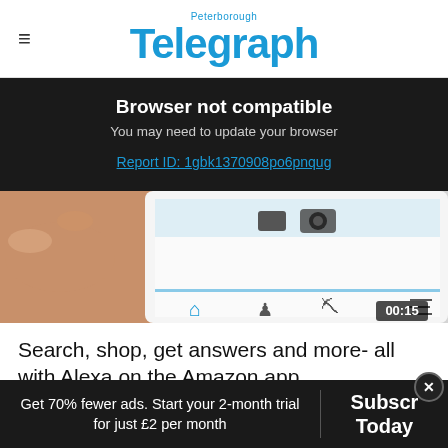Peterborough Telegraph
Browser not compatible
You may need to update your browser
Report ID: 1gbk1370908po6pnqug
[Figure (screenshot): Phone screen showing Amazon app interface with home, profile, cart and menu icons. Time badge shows 00:15.]
Search, shop, get answers and more- all with Alexa on the Amazon app
Amazon Alexa
Get 70% fewer ads. Start your 2-month trial for just £2 per month
Subscribe Today